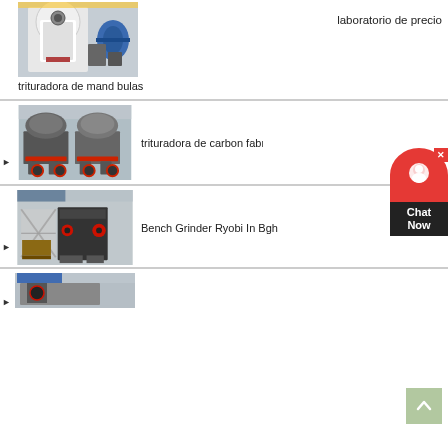[Figure (photo): Industrial grinding/milling machine in a factory setting, large white cylindrical machine with blue industrial fan]
laboratorio de precio
trituradora de mand bulas
[Figure (photo): Two grey industrial cone crusher machines with red trim on metal frames in a factory]
trituradora de carbon fabric
[Figure (photo): Black and red jaw crusher machine in a factory with lift equipment in background]
Bench Grinder Ryobi In Bgh
[Figure (photo): Partial view of another industrial machine in factory setting]